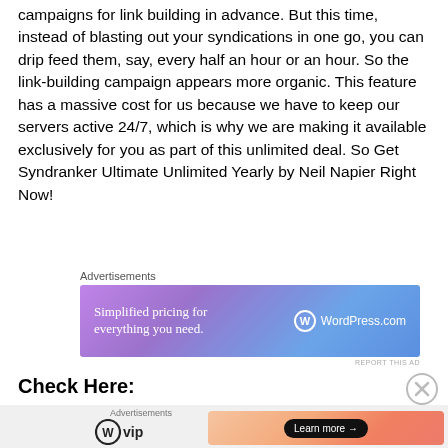campaigns for link building in advance. But this time, instead of blasting out your syndications in one go, you can drip feed them, say, every half an hour or an hour. So the link-building campaign appears more organic. This feature has a massive cost for us because we have to keep our servers active 24/7, which is why we are making it available exclusively for you as part of this unlimited deal. So Get Syndranker Ultimate Unlimited Yearly by Neil Napier Right Now!
[Figure (other): WordPress.com advertisement banner: 'Simplified pricing for everything you need.' with WordPress.com logo]
Check Here:
[Figure (other): WordPress VIP logo and Learn more button advertisement on gradient orange-pink background]